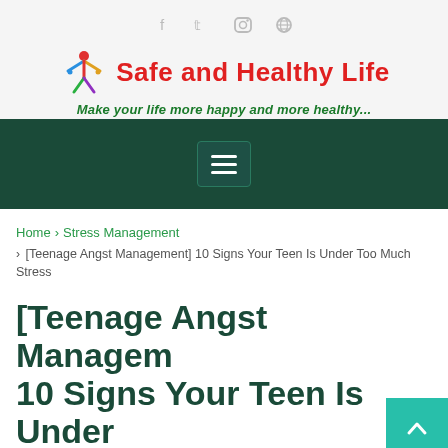f  t  Instagram  Pinterest
[Figure (logo): Safe and Healthy Life logo with colorful figure icon and red text]
Make your life more happy and more healthy...
[Figure (infographic): Dark green navigation bar with hamburger menu button]
Home > Stress Management > [Teenage Angst Management] 10 Signs Your Teen Is Under Too Much Stress
[Teenage Angst Management] 10 Signs Your Teen Is Under